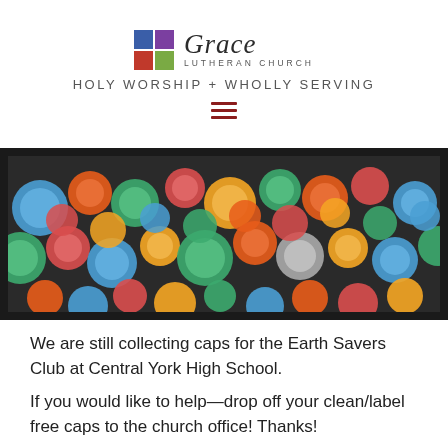Grace Lutheran Church — HOLY WORSHIP + WHOLLY SERVING
[Figure (photo): A bin overflowing with colorful plastic bottle caps of various sizes and colors including blue, green, red, orange, yellow, and teal.]
We are still collecting caps for the Earth Savers Club at Central York High School.
If you would like to help—drop off your clean/label free caps to the church office! Thanks!